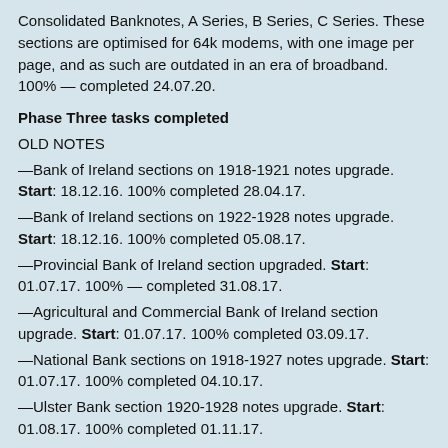Consolidated Banknotes, A Series, B Series, C Series. These sections are optimised for 64k modems, with one image per page, and as such are outdated in an era of broadband. 100% — completed 24.07.20.
Phase Three tasks completed
OLD NOTES
—Bank of Ireland sections on 1918-1921 notes upgrade. Start: 18.12.16. 100% completed 28.04.17.
—Bank of Ireland sections on 1922-1928 notes upgrade. Start: 18.12.16. 100% completed 05.08.17.
—Provincial Bank of Ireland section upgraded. Start: 01.07.17. 100% — completed 31.08.17.
—Agricultural and Commercial Bank of Ireland section upgrade. Start: 01.07.17. 100% completed 03.09.17.
—National Bank sections on 1918-1927 notes upgrade. Start: 01.07.17. 100% completed 04.10.17.
—Ulster Bank section 1920-1928 notes upgrade. Start: 01.08.17. 100% completed 01.11.17.
—Northern Bank section 1921-1928 notes upgrade. Start: 01.08.17. 100% completed 01.11.17.
—Bank of Ireland sections on 1783-1918 notes upgrade. Start: 26.03.18. 100% complete 03.07.20.
—Belfast Banking Company sections on 1824-1920 notes upgrade. Start: 26.03.18. 100% complete 03.07.20.
—National Bank sections on 1835-1918 notes upgrade. Start: 26.03.18.